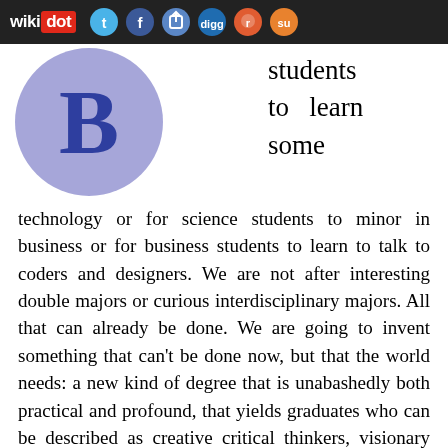wikidot [social icons: twitter, facebook, share, digg, reddit, stumbleupon]
[Figure (illustration): Large blue-purple circle with bold letter B in dark blue]
students to learn some
technology or for science students to minor in business or for business students to learn to talk to coders and designers. We are not after interesting double majors or curious interdisciplinary majors. All that can already be done. We are going to invent something that can't be done now, but that the world needs: a new kind of degree that is unabashedly both practical and profound, that yields graduates who can be described as creative critical thinkers, visionary pragmatists, technologists with a social conscience, radicals whose skill sets make them a danger to the status quo.
How  Unlike similar programs at larger